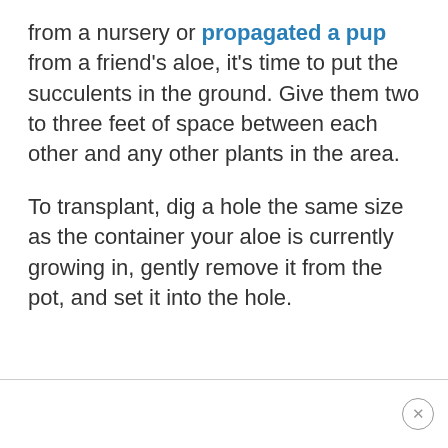from a nursery or propagated a pup from a friend's aloe, it's time to put the succulents in the ground. Give them two to three feet of space between each other and any other plants in the area.
To transplant, dig a hole the same size as the container your aloe is currently growing in, gently remove it from the pot, and set it into the hole.